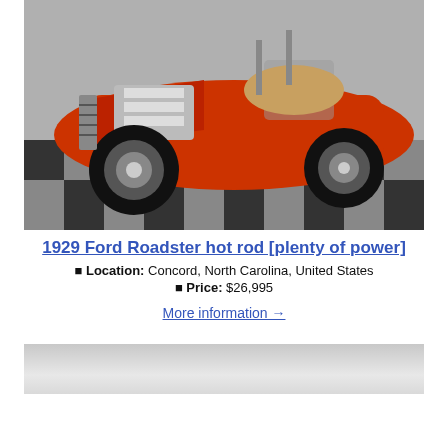[Figure (photo): 1929 Ford Roadster hot rod, red/orange color, exposed chrome engine, large tires, parked on checkered floor in a showroom]
1929 Ford Roadster hot rod [plenty of power]
🔲 Location: Concord, North Carolina, United States
🔲 Price: $26,995
More information →
[Figure (photo): Partial view of another vehicle listing, light gray/silver car, partially visible at bottom of page]